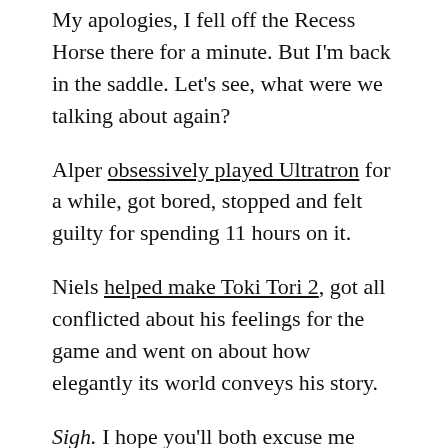My apologies, I fell off the Recess Horse there for a minute. But I'm back in the saddle. Let's see, what were we talking about again?
Alper obsessively played Ultratron for a while, got bored, stopped and felt guilty for spending 11 hours on it.
Niels helped make Toki Tori 2, got all conflicted about his feelings for the game and went on about how elegantly its world conveys his story.
Sigh. I hope you'll both excuse me while I don my schoolmaster's cap and proceed to school you.
It's telling Alper feels Moves offers more meaningful play than Ultratron. He's stuck in what Sutton-Smith calls 'the rhetorics of animal progress'. The idea that play is only meaningful when it con-